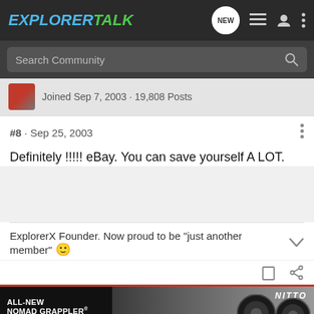ExplorerTalk
Search Community
Joined Sep 7, 2003 · 19,808 Posts
#8 · Sep 25, 2003
Definitely !!!!! eBay. You can save yourself A LOT.
ExplorerX Founder. Now proud to be "just another member" 🙂
[Figure (photo): Nitto All-New Nomad Grappler Crossover-Terrain Tire advertisement banner showing tires]